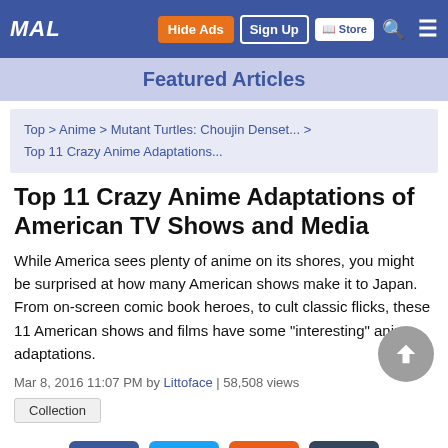MAL  Hide Ads  Sign Up  Store
Featured Articles
Top > Anime > Mutant Turtles: Choujin Denset... > Top 11 Crazy Anime Adaptations...
Top 11 Crazy Anime Adaptations of American TV Shows and Media
While America sees plenty of anime on its shores, you might be surprised at how many American shows make it to Japan. From on-screen comic book heroes, to cult classic flicks, these 11 American shows and films have some "interesting" anime adaptations.
Mar 8, 2016 11:07 PM by Littoface | 58,508 views
Collection
[Figure (other): Social share buttons: Facebook, Twitter, Reddit, Tumblr]
Inspiration for anime adaptations is not limited to Japan!